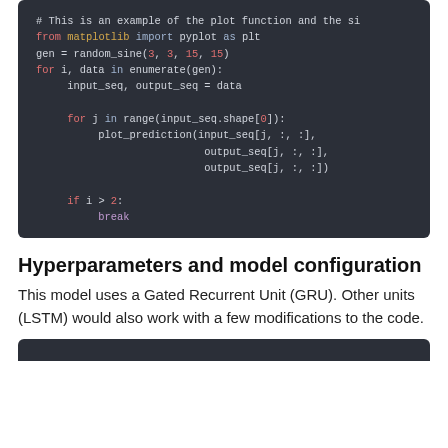[Figure (screenshot): Python code block on dark background showing matplotlib plotting code with for loops, plot_prediction calls, and a break statement.]
Hyperparameters and model configuration
This model uses a Gated Recurrent Unit (GRU). Other units (LSTM) would also work with a few modifications to the code.
[Figure (screenshot): Bottom portion of another dark code block (partially visible).]